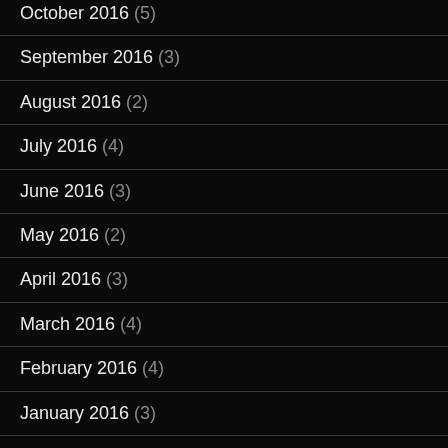October 2016 (5)
September 2016 (3)
August 2016 (2)
July 2016 (4)
June 2016 (3)
May 2016 (2)
April 2016 (3)
March 2016 (4)
February 2016 (4)
January 2016 (3)
December 2015 (4)
November 2015 (4)
October 2015 (3)